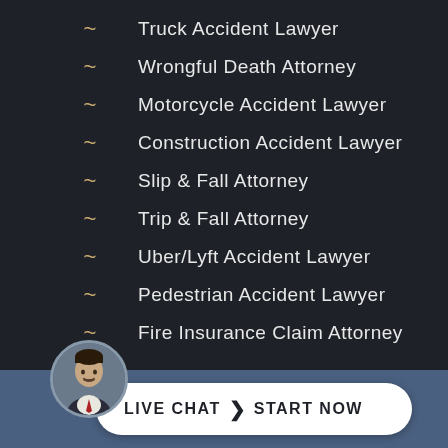~ Truck Accident Lawyer
~ Wrongful Death Attorney
~ Motorcycle Accident Lawyer
~ Construction Accident Lawyer
~ Slip & Fall Attorney
~ Trip & Fall Attorney
~ Uber/Lyft Accident Lawyer
~ Pedestrian Accident Lawyer
~ Fire Insurance Claim Attorney
[Figure (other): Live chat button with attorney avatar photo and 'LIVE CHAT > START NOW' call-to-action button in white rounded rectangle on blue footer bar]